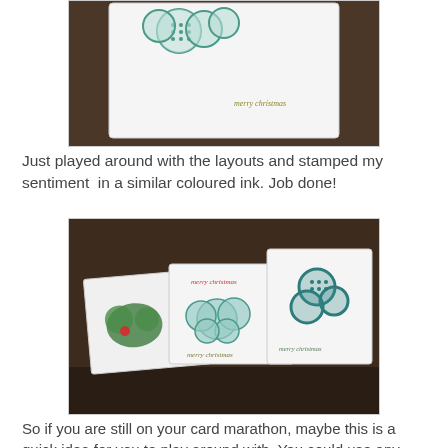[Figure (photo): Close-up photo of a white greeting card with teal circular pattern stamp at top and 'merry christmas' text stamped in gold/olive ink, resting on a dark wooden surface.]
Just played around with the layouts and stamped my sentiment  in a similar coloured ink. Job done!
[Figure (photo): Photo showing three handmade Christmas cards displayed on a dark wooden shelf: left card has a green circular holly stamp with red accent; middle card has a cloud-like teal bubble stamp with 'merry christmas' in red; right card has a teal circular ornament/bauble stamp design with 'merry christmas' text.]
So if you are still on your card marathon, maybe this is a quick idea for you to play around with. You could use any paper - old music, old cards, gift wrapping...!